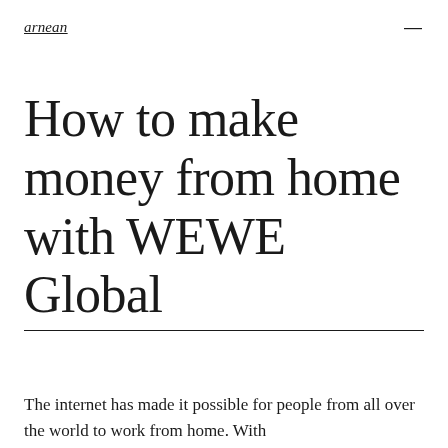arnean
How to make money from home with WEWE Global
The internet has made it possible for people from all over the world to work from home. With